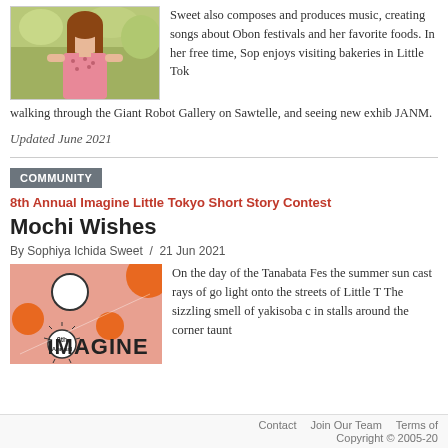[Figure (photo): Photo of a woman in a pink floral top outdoors with greenery in background]
Sweet also composes and produces music, creating songs about Obon festivals and her favorite foods. In her free time, Sophiya enjoys visiting bakeries in Little Tok walking through the Giant Robot Gallery on Sawtelle, and seeing new exhib JANM.
Updated June 2021
COMMUNITY
8th Annual Imagine Little Tokyo Short Story Contest
Mochi Wishes
By Sophiya Ichida Sweet  /  21 Jun 2021
[Figure (illustration): Pink background illustration with orange and white circles/balloons and text reading 8th Annual IMAGINE]
On the day of the Tanabata Fes the summer sun cast rays of go light onto the streets of Little T The sizzling smell of yakisoba c in stalls around the corner taunt
Contact   Join Our Team   Terms of   Copyright © 2005-20